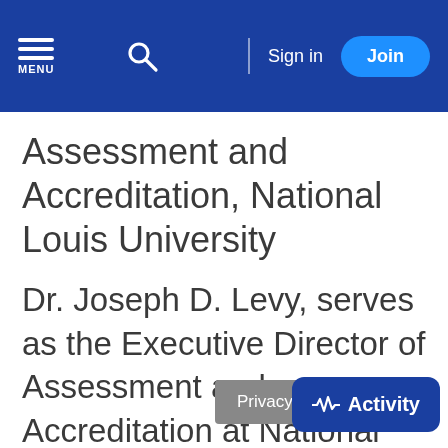MENU | Sign in | Join
Assessment and Accreditation, National Louis University
Dr. Joseph D. Levy, serves as the Executive Director of Assessment and Accreditation at National Louis University in Chicago, IL. Joe earned a BA in English from Baldwin-Wallace College, an MS in Student Affairs in Higher Education from Colorado State